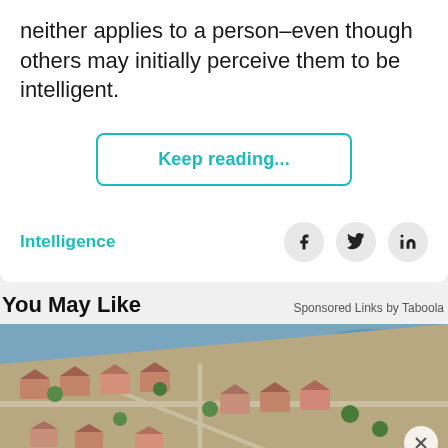neither applies to a person–even though others may initially perceive them to be intelligent.
Keep reading...
Intelligence
You May Like
Sponsored Links by Taboola
[Figure (photo): Aerial view of a residential neighborhood with terracotta roof houses, trees, and a blue body of water/lake visible.]